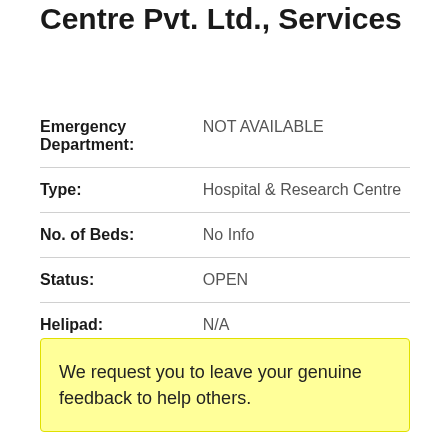Centre Pvt. Ltd., Services
| Field | Value |
| --- | --- |
| Emergency Department: | NOT AVAILABLE |
| Type: | Hospital & Research Centre |
| No. of Beds: | No Info |
| Status: | OPEN |
| Helipad: | N/A |
We request you to leave your genuine feedback to help others.